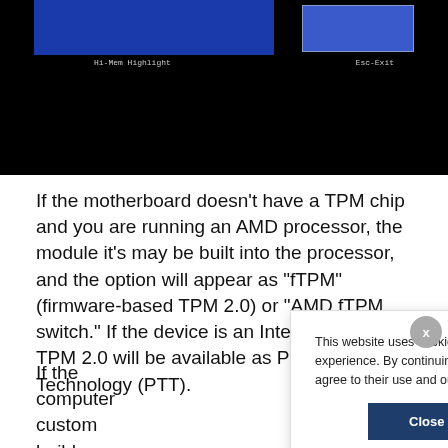[Figure (screenshot): BIOS/UEFI screenshot with blue interface bars on black background, showing menu labels 'Hi-Mem Highlight' and 'Esc-Exit']
If the motherboard doesn’t have a TPM chip and you are running an AMD processor, the module it’s may be built into the processor, and the option will appear as “fTPM” (firmware-based TPM 2.0) or “AMD fTPM switch.” If the device is an Intel-based system, TPM 2.0 will be available as Platform Trust Technology (PTT).
If the computer custom build, y add the suppor motherboard’s  support exists.
This website uses cookies to ensure you get the best experience. By continuing to use this website, you agree to their use and our privacy policy. Learn more
Close and accept